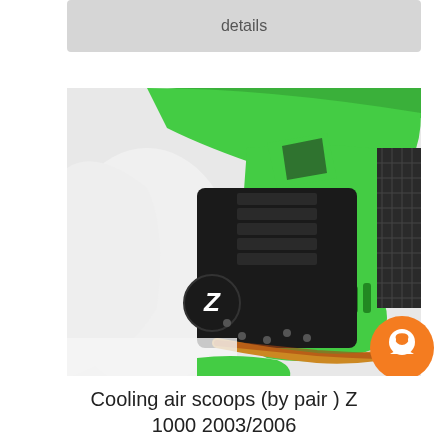details
[Figure (photo): Close-up photo of a green Kawasaki Z1000 motorcycle engine area showing cooling air scoops in green, black engine components, and a radiator section. The motorcycle has a white fairing and the Kawasaki Z logo is visible on the engine cover.]
Cooling air scoops (by pair ) Z 1000 2003/2006